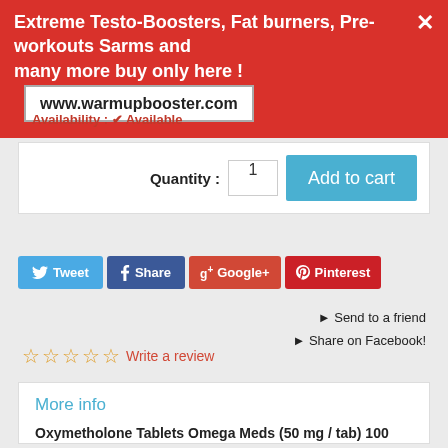[Figure (screenshot): Red promotional banner: 'Extreme Testo-Boosters, Fat burners, Pre-workouts Sarms and many more buy only here! www.warmupbooster.com' with close X button]
Availability : ✔ Available
Quantity : 1  Add to cart
[Figure (screenshot): Social sharing buttons: Tweet, Share, Google+, Pinterest]
► Send to a friend
► Share on Facebook!
☆☆☆☆☆ Write a review
More info
Oxymetholone Tablets Omega Meds (50 mg / tab) 100 tabs
Oxymetholone - a drug legend that is famous for all the athletes. It was designed in 1960 in Mexico. And almost as soon as the drug reaches the American market. Initially, the drug was to be used to treat anemia. But as it turned out later, oxymetholone was not sufficiently effective for the